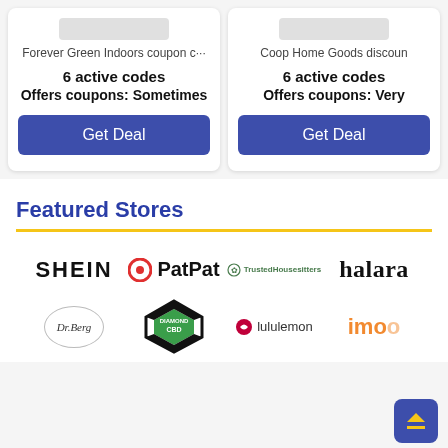[Figure (other): Forever Green Indoors coupon card with 6 active codes, Offers coupons: Sometimes, and a Get Deal button]
[Figure (other): Coop Home Goods discount card with 6 active codes, Offers coupons: Very, and a Get Deal button]
Featured Stores
[Figure (logo): SHEIN logo]
[Figure (logo): PatPat logo]
[Figure (logo): TrustedHousesitters logo]
[Figure (logo): halara logo]
[Figure (logo): Dr. Berg logo]
[Figure (logo): Diamond CBD logo]
[Figure (logo): lululemon logo]
[Figure (logo): imoo logo]